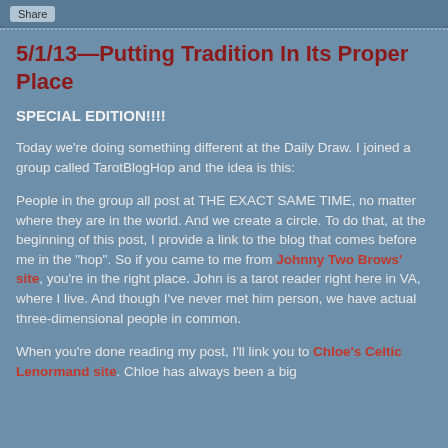Share
5/1/13—Putting Tradition In Its Proper Place
SPECIAL EDITION!!!!
Today we're doing something different at the Daily Draw. I joined a group called TarotBlogHop and the idea is this:
People in the group all post at THE EXACT SAME TIME, no matter where they are in the world. And we create a circle. To do that, at the beginning of this post, I provide a link to the blog that comes before me in the "hop". So if you came to me from Johnny Two Brows' site, you're in the right place. John is a tarot reader right here in VA, where I live. And though I've never met him person, we have actual three-dimensional people in common.
When you're done reading my post, I'll link you to Chloe's Celtic Lenormand site. Chloe has always been a big